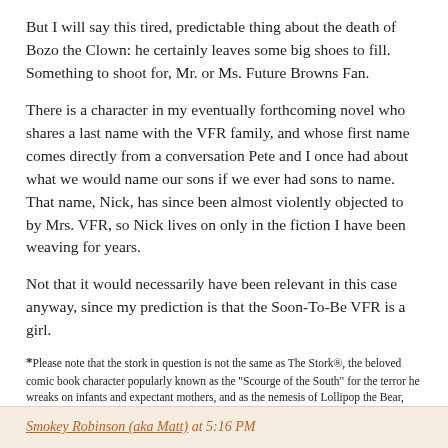But I will say this tired, predictable thing about the death of Bozo the Clown: he certainly leaves some big shoes to fill. Something to shoot for, Mr. or Ms. Future Browns Fan.
There is a character in my eventually forthcoming novel who shares a last name with the VFR family, and whose first name comes directly from a conversation Pete and I once had about what we would name our sons if we ever had sons to name. That name, Nick, has since been almost violently objected to by Mrs. VFR, so Nick lives on only in the fiction I have been weaving for years.
Not that it would necessarily have been relevant in this case anyway, since my prediction is that the Soon-To-Be VFR is a girl.
*Please note that the stork in question is not the same as The Stork®, the beloved comic book character popularly known as the "Scourge of the South" for the terror he wreaks on infants and expectant mothers, and as the nemesis of Lollipop the Bear, AND who is a registered trademark of DC Comics and Hasbro, Inc. Just to emphasize again, this is not that "the stork."
Smokey Robinson (aka Matt) at 5:16 PM